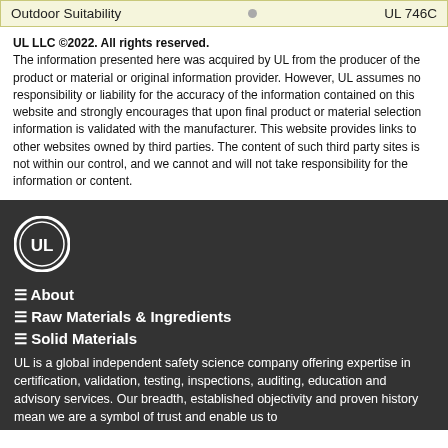| Outdoor Suitability |  | UL 746C |
| --- | --- | --- |
UL LLC ©2022. All rights reserved. The information presented here was acquired by UL from the producer of the product or material or original information provider. However, UL assumes no responsibility or liability for the accuracy of the information contained on this website and strongly encourages that upon final product or material selection information is validated with the manufacturer. This website provides links to other websites owned by third parties. The content of such third party sites is not within our control, and we cannot and will not take responsibility for the information or content.
[Figure (logo): UL logo — circular badge with 'UL' text in white on dark background]
☰ About
☰ Raw Materials & Ingredients
☰ Solid Materials
UL is a global independent safety science company offering expertise in certification, validation, testing, inspections, auditing, education and advisory services. Our breadth, established objectivity and proven history mean we are a symbol of trust and enable us to